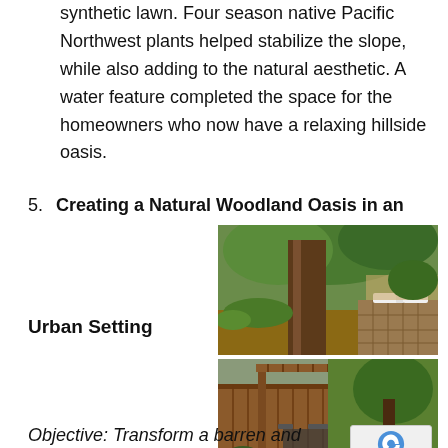synthetic lawn. Four season native Pacific Northwest plants helped stabilize the slope, while also adding to the natural aesthetic. A water feature completed the space for the homeowners who now have a relaxing hillside oasis.
5. Creating a Natural Woodland Oasis in an Urban Setting
[Figure (photo): Two photos side by side: top photo shows a large tree trunk in a woodland garden with stone path and lounge chairs; bottom photo shows a covered outdoor pergola structure with stone pathway and planted garden beds.]
Objective: Transform a barren and